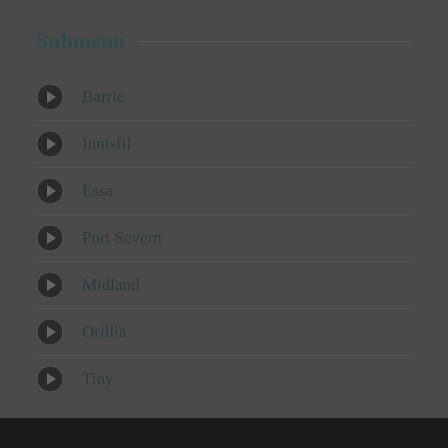Submenu
Barrie
Innisfil
Essa
Port Severn
Midland
Orillia
Tiny